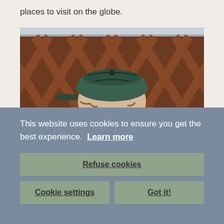places to visit on the globe.
[Figure (photo): Person wearing a green cap backwards, seen from behind/side, with a wooden lattice fence in the background. The photo is cropped showing mostly the back of the head.]
This website uses cookies to ensure you get the best experience. Learn more
Refuse cookies
Cookie settings
Got it!